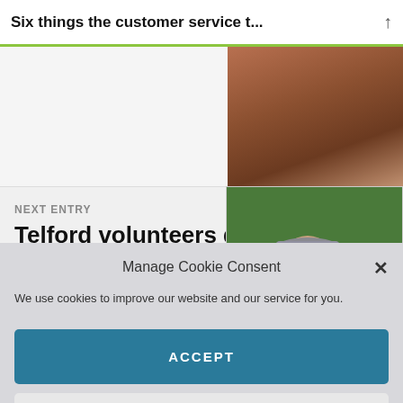Six things the customer service t...
NEXT ENTRY
Telford volunteers dog walkers help out during Coronavirus outbreak
[Figure (photo): Photo of a man with sunglasses and a grey cap posing with a brown dog outdoors with green foliage in background]
Manage Cookie Consent
We use cookies to improve our website and our service for you.
ACCEPT
DENY